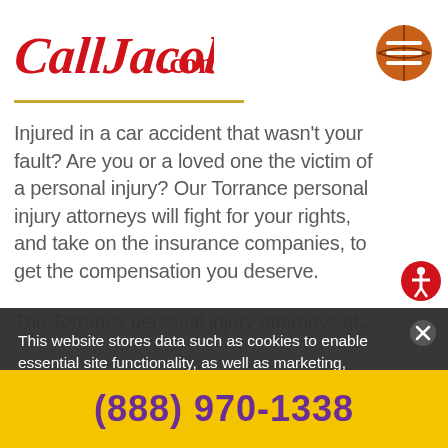[Figure (logo): CallJacob.com logo in red cursive script]
[Figure (illustration): Basketball-themed hamburger menu icon (orange circle with white horizontal lines)]
Injured in a car accident that wasn't your fault? Are you or a loved one the victim of a personal injury? Our Torrance personal injury attorneys will fight for your rights, and take on the insurance companies, to get the compensation you deserve.
This website stores data such as cookies to enable essential site functionality, as well as marketing, personalization, and analytics. By remaining on this
(888) 970-1338